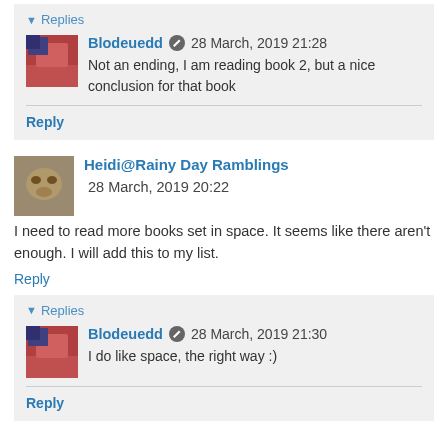▼ Replies
Blodeuedd ✏ 28 March, 2019 21:28
Not an ending, I am reading book 2, but a nice conclusion for that book
Reply
Heidi@Rainy Day Ramblings 28 March, 2019 20:22
I need to read more books set in space. It seems like there aren't enough. I will add this to my list.
Reply
▼ Replies
Blodeuedd ✏ 28 March, 2019 21:30
I do like space, the right way :)
Reply